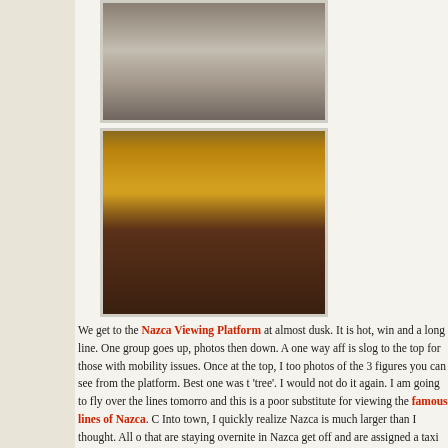[Figure (photo): Top partial photo showing what appears to be machinery or equipment outdoors in a sandy/dusty environment]
[Figure (photo): Photo of a group of people seated in red chairs in a restaurant or venue with yellow walls, ceiling lights, and shelves in background. Two people standing appear to be giving a presentation or tour.]
We get to the Nazca Viewing Platform at almost dusk. It is hot, win and a long line. One group goes up, photos then down. A one way aff is slog to the top for those with mobility issues. Once at the top, I too photos of the 3 figures you can see from the platform. Best one was t 'tree'. I would not do it again. I am going to fly over the lines tomorro and this is a poor substitute for viewing the famous lines of Nazca. C Into town, I quickly realize Nazca is much larger than I thought. All o that are staying overnite in Nazca get off and are assigned a taxi to o room. Peru Hop pays for the taxi. After a 10 minute taxi ride, I realiz crap hostel is not close to anything. I do have a room to myself with bathroom but regret my choice of hostels. Clean up and then I ask the French volunteers where I can get something to eat. There is nothing